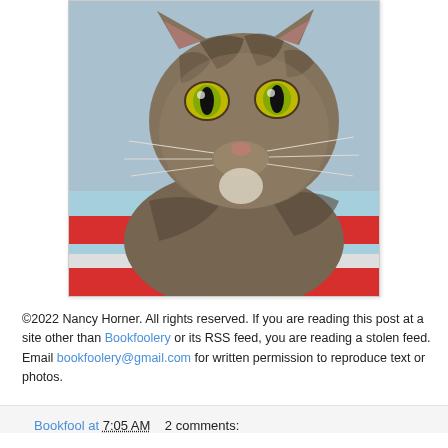[Figure (photo): Close-up photo of a tabby cat with large yellow-green eyes, looking directly at the camera. The cat is resting on a colorful striped blanket with red, blue, and white stripes.]
©2022 Nancy Horner. All rights reserved. If you are reading this post at a site other than Bookfoolery or its RSS feed, you are reading a stolen feed. Email bookfoolery@gmail.com for written permission to reproduce text or photos.
Bookfool at 7:05 AM   2 comments: